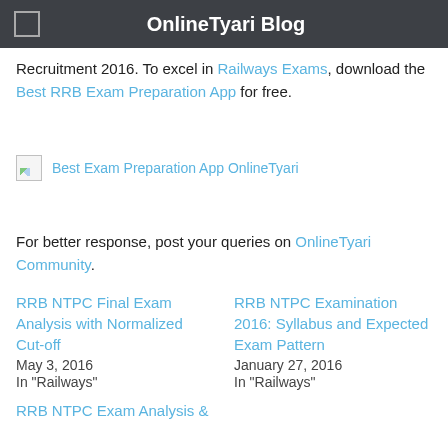OnlineTyari Blog
Recruitment 2016. To excel in Railways Exams, download the Best RRB Exam Preparation App for free.
[Figure (illustration): Broken image placeholder with text: Best Exam Preparation App OnlineTyari]
For better response, post your queries on OnlineTyari Community.
RRB NTPC Final Exam Analysis with Normalized Cut-off
May 3, 2016
In "Railways"
RRB NTPC Examination 2016: Syllabus and Expected Exam Pattern
January 27, 2016
In "Railways"
RRB NTPC Exam Analysis &